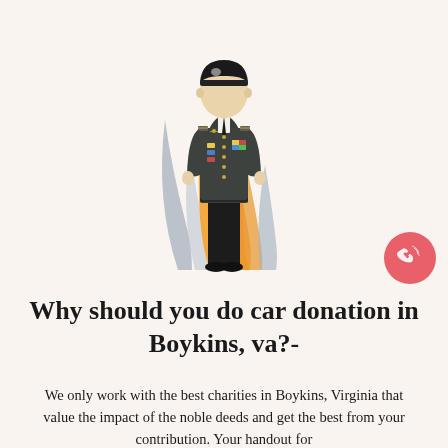[Figure (illustration): Flat vector illustration of a military soldier in dark dress uniform with medals and rank insignia, standing in front of decorative flame/leaf shapes in orange and gray, on a light peach background. A red circular phone/call button icon is in the lower right of the illustration area.]
Why should you do car donation in Boykins, va?-
We only work with the best charities in Boykins, Virginia that value the impact of the noble deeds and get the best from your contribution. Your handout for